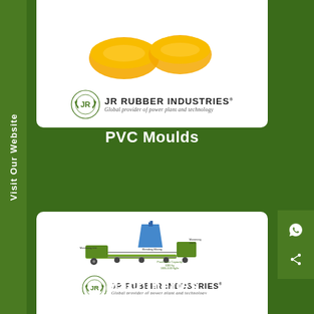[Figure (logo): JR Rubber Industries logo with laurel wreath emblem, company name and tagline in top card]
PVC Moulds
[Figure (engineering-diagram): JR Rubber Industries machinery/plant engineering diagram with labeled components and blue hopper, plus company logo below]
Machineries
[Figure (other): Partial bottom white card visible at page bottom]
Visit Our Website
[Figure (other): WhatsApp and Share icons on right sidebar]